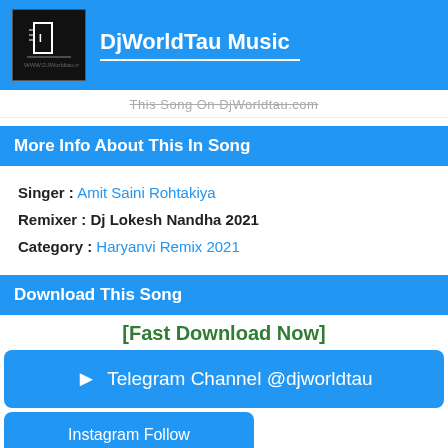DjWorldTau Music
This Song On DjWorldtau.com
More Info About This In Song
Singer : Amit Saini Rohtakiya
Remixer : Dj Lokesh Nandha 2021
Category : Haryanvi Remix 2021
Download This Song
[Fast Download Now]
Telegram Channel @djworldtau
Instagram Follow